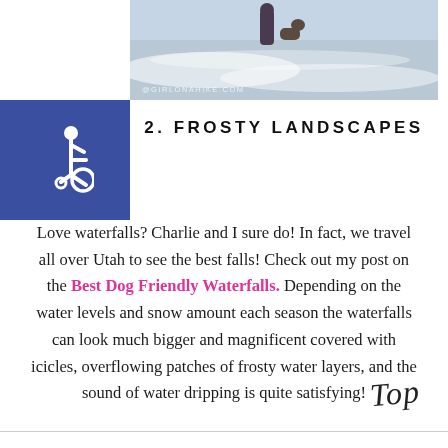[Figure (photo): Photo of person with dog at ocean waves with watermark @GIRLONAHIKE.COM]
[Figure (infographic): Blue square with white wheelchair accessibility icon]
2. FROSTY LANDSCAPES
Love waterfalls? Charlie and I sure do! In fact, we travel all over Utah to see the best falls! Check out my post on the Best Dog Friendly Waterfalls. Depending on the water levels and snow amount each season the waterfalls can look much bigger and magnificent covered with icicles, overflowing patches of frosty water layers, and the sound of water dripping is quite satisfying!